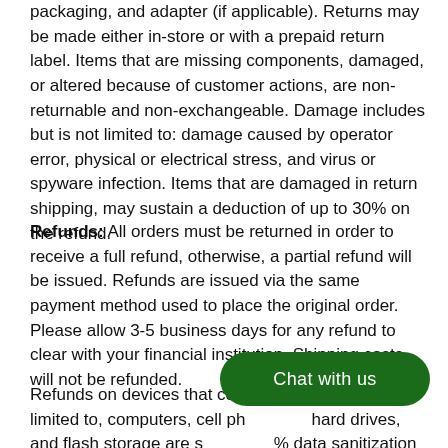packaging, and adapter (if applicable). Returns may be made either in-store or with a prepaid return label. Items that are missing components, damaged, or altered because of customer actions, are non-returnable and non-exchangeable. Damage includes but is not limited to: damage caused by operator error, physical or electrical stress, and virus or spyware infection. Items that are damaged in return shipping, may sustain a deduction of up to 30% on the refund.
Refunds: All orders must be returned in order to receive a full refund, otherwise, a partial refund will be issued. Refunds are issued via the same payment method used to place the original order. Please allow 3-5 business days for any refund to clear with your financial institution. Shipping costs will not be refunded.
Refunds on devices that contain d[...] ut not limited to, computers, cell ph[...] hard drives, and flash storage are s[...]% data sanitization fee.